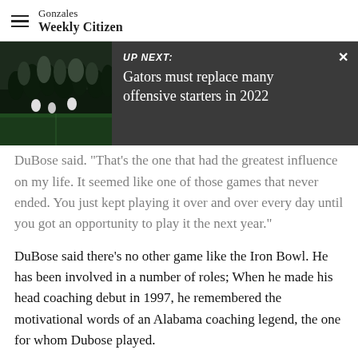Gonzales Weekly Citizen
[Figure (screenshot): UP NEXT banner showing a football crowd image on the left and text 'UP NEXT: Gators must replace many offensive starters in 2022' on a dark grey background with an X close button]
DuBose said. "That's the one that had the greatest influence on my life. It seemed like one of those games that never ended. You just kept playing it over and over every day until you got an opportunity to play it the next year."
DuBose said there's no other game like the Iron Bowl. He has been involved in a number of roles; When he made his head coaching debut in 1997, he remembered the motivational words of an Alabama coaching legend, the one for whom Dubose played.